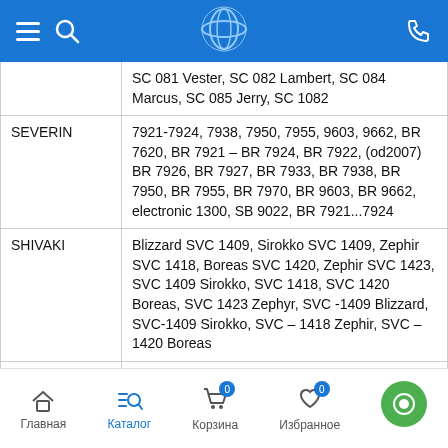App navigation header with menu, search, logo, phone icons
| Brand | Models |
| --- | --- |
|  | SC 081 Vester, SC 082 Lambert, SC 084 Marcus, SC 085 Jerry, SC 1082 |
| SEVERIN | 7921-7924, 7938, 7950, 7955, 9603, 9662, BR 7620, BR 7921 – BR 7924, BR 7922, (od2007) BR 7926, BR 7927, BR 7933, BR 7938, BR 7950, BR 7955, BR 7970, BR 9603, BR 9662, electronic 1300, SB 9022, BR 7921...7924 |
| SHIVAKI | Blizzard SVC 1409, Sirokko SVC 1409, Zephir SVC 1418, Boreas SVC 1420, Zephir SVC 1423, SVC 1409 Sirokko, SVC 1418, SVC 1420 Boreas, SVC 1423 Zephyr, SVC -409 Blizzard, SVC-1409 Sirokko, SVC – 1418 Zephir, SVC – 1420 Boreas |
| SOLAC | A 304, A 502, AB 2600 |
| SUPRA | VCS-1470, VCS-1597 |
| Taurus | Golf, Smart, Twingo |
| TEAM | BS969E, ST1, ST2, ST21E, ST31E, ST33E, |
Главная | Каталог | Корзина 0 | Избранное 0 | (chat)